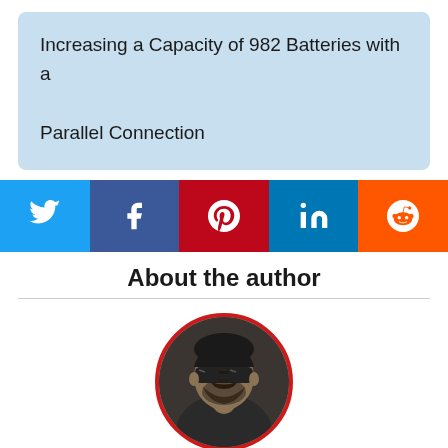Increasing a Capacity of 982 Batteries with a Parallel Connection
[Figure (infographic): Social share buttons row: Twitter (blue), Facebook (dark blue), Pinterest (red), LinkedIn (light blue), Reddit (orange), each with respective icon in white]
About the author
[Figure (photo): Circular profile photo of author Eric Strong, a man wearing sunglasses, framed with a red circular border]
Eric Strong